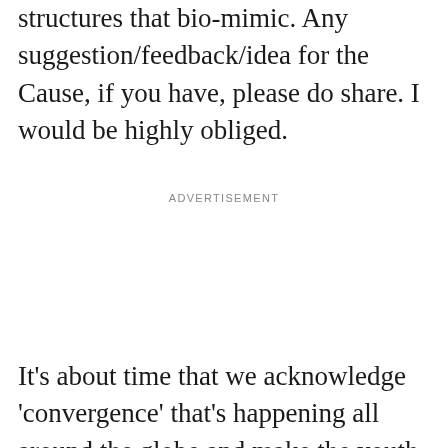structures that bio-mimic. Any suggestion/feedback/idea for the Cause, if you have, please do share. I would be highly obliged.
ADVERTISEMENT
It's about time that we acknowledge 'convergence' that's happening all around the globe and make the youth more competent and happy 'now'. Because as